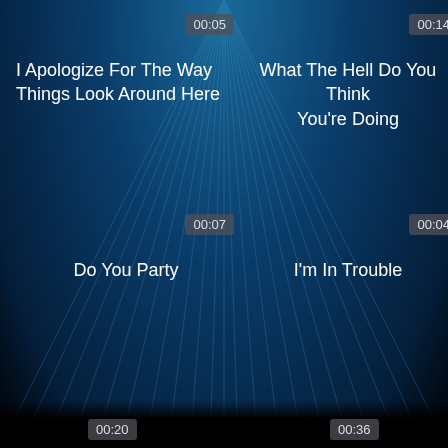[Figure (screenshot): Music/video playlist interface with blue radial ray background showing four media items in a 2x2 grid, each with a timestamp badge and title. Top-left: 00:05 - I Apologize For The Way Things Look Around Here. Top-right: 00:14 - What The Hell Do You Think You're Doing. Bottom-left: 00:07 - Do You Party. Bottom-right: 00:04 - I'm In Trouble. Partial bottom row with 00:20 and 00:36 timestamps visible.]